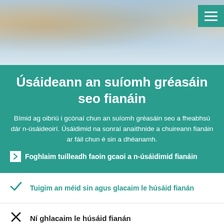[Figure (photo): Blurred photo banner of people in a shopping mall or public space]
Úsáideann an suíomh gréasáin seo fianáin
Bímid ag oibriú i gcónaí chun an suíomh gréasáin seo a fheabhsú dár n-úsáideoirí. Úsáidimid na sonraí anaithnide a chuireann fianáin ar fáil chun é sin a dhéanamh.
Foghlaim tuilleadh faoin gcaoi a n-úsáidimid fianáin
Tuigim an méid sin agus glacaim le húsáid fianán
Ní ghlacaim le húsáid fianán